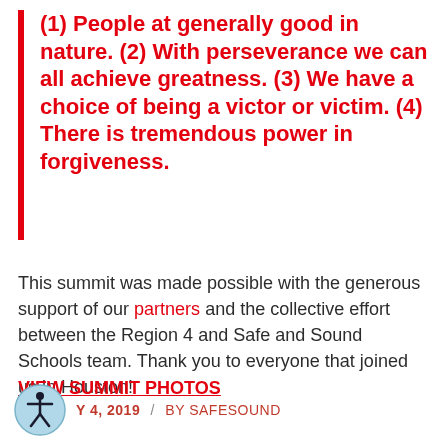(1) People at generally good in nature. (2) With perseverance we can all achieve greatness. (3) We have a choice of being a victor or victim. (4) There is tremendous power in forgiveness.
This summit was made possible with the generous support of our partners and the collective effort between the Region 4 and Safe and Sound Schools team. Thank you to everyone that joined us in Houston!
VIEW SUMMIT PHOTOS
Y 4, 2019  /  BY SAFESOUND